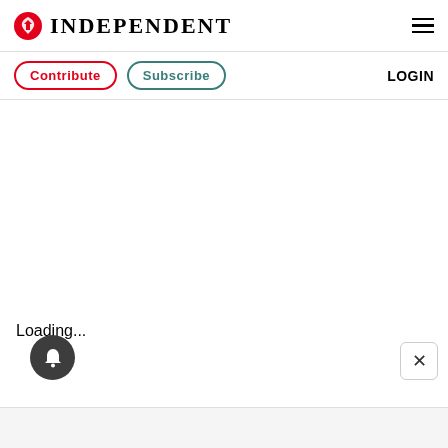INDEPENDENT
[Figure (logo): Independent newspaper logo — red circle with eagle icon and INDEPENDENT text]
Contribute
Subscribe
LOGIN
Loading...
[Figure (other): Dark circular bell/notification button icon]
[Figure (other): Close (X) button]